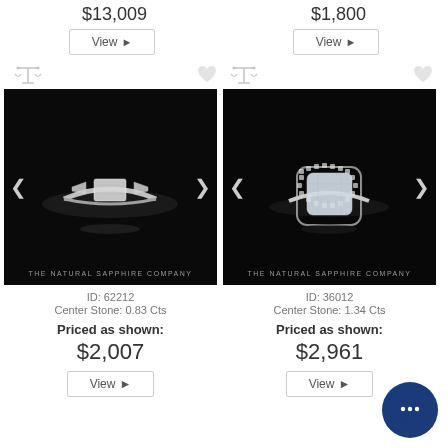$13,009
$1,800
View ▶
View ▶
[Figure (photo): Three-stone diamond ring with emerald cut center stone on dark background, watermarked THE NATURAL SAPPHIRE COMPANY]
[Figure (photo): Cushion cut diamond halo ring on dark background, watermarked THE NATURAL SAPPHIRE COMPANY]
ID: 62212
Center Stone: 0.83 Cts
Priced as shown:
$2,007
View ▶
ID: 36012
Center Stone: 1.34 Cts
Priced as shown:
$2,961
View ▶